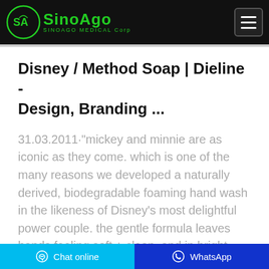SinoAgo MEDICAL Corp — navigation bar with logo and menu button
Disney / Method Soap | Dieline - Design, Branding ...
31.03.2011·"mickey and minnie are as iconic as they come. which is one of the many reasons we developed a naturally derived, biodegradable foaming hand wash in the likeness of Disney's most delightful power couple. the gentle formula leaves hands feeling soft + clean. and in bright, fresh fragrances like...
Chat online | WhatsApp